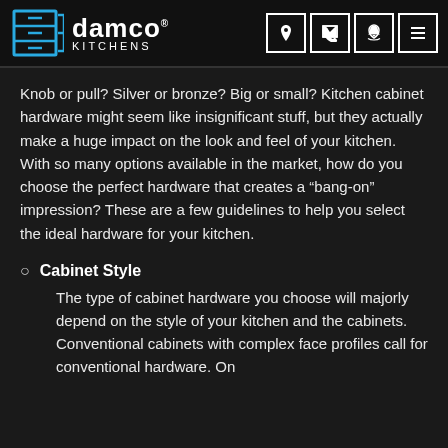damco KITCHENS
Knob or pull? Silver or bronze? Big or small? Kitchen cabinet hardware might seem like insignificant stuff, but they actually make a huge impact on the look and feel of your kitchen. With so many options available in the market, how do you choose the perfect hardware that creates a “bang-on” impression? These are a few guidelines to help you select the ideal hardware for your kitchen.
Cabinet Style
The type of cabinet hardware you choose will majorly depend on the style of your kitchen and the cabinets. Conventional cabinets with complex face profiles call for conventional hardware. On